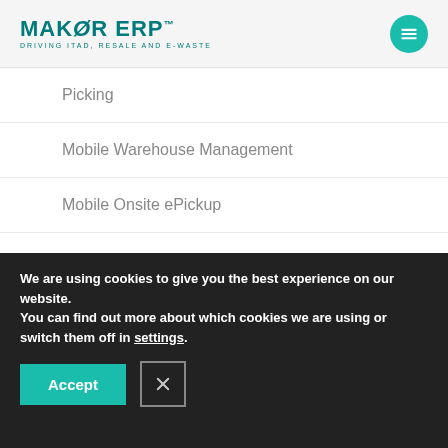MAKØR ERP™ — DRIVING ITAD, RESALE AND E-WASTE
Picking
Mobile Warehouse Management
Mobile Onsite ePickup
Self-Service Reporting Module (SSRM)
Fulfillment by Amazon Integration
Inter-site Material Transfer System
We are using cookies to give you the best experience on our website.
You can find out more about which cookies we are using or switch them off in settings.